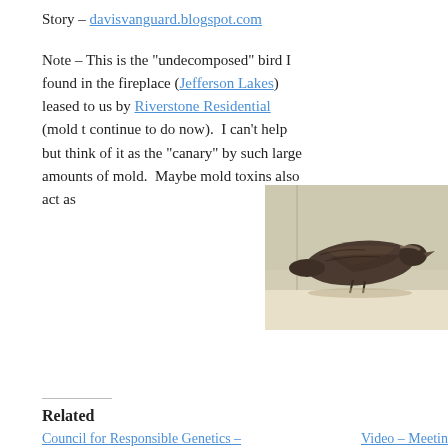Story – davisvanguard.blogspot.com
Note – This is the "undecomposed" bird I found in the fireplace (Jefferson Lakes) leased to us by Riverstone Residential (mold t… continue to do now).  I can't help but think of it as the "canary" by such large amounts of mold.  Maybe mold toxins also act as
[Figure (photo): A mummified or dried dead bird lying on a light-colored surface, photographed against a pale wall background.]
Loading...
Related
Council for Responsible Genetics –
Video – Meetin